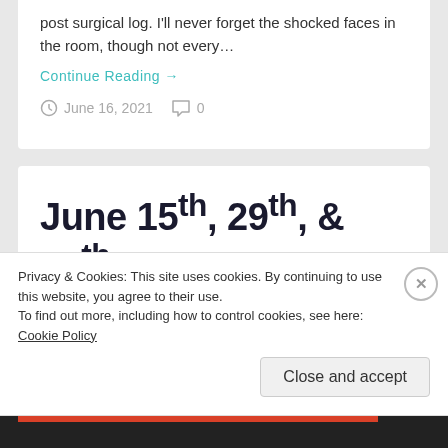post surgical log. I'll never forget the shocked faces in the room, though not every…
Continue Reading →
June 16, 2021   0
June 15th, 29th, & 30th, 2021 Public Hearing – 1,500 New Jobs Enrage Downtown Howeite While Hundreds
Privacy & Cookies: This site uses cookies. By continuing to use this website, you agree to their use.
To find out more, including how to control cookies, see here: Cookie Policy
Close and accept